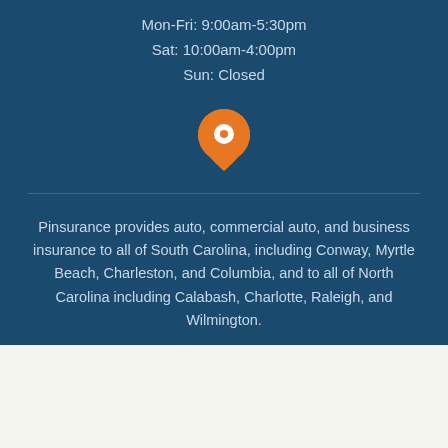Mon-Fri: 9:00am-5:30pm
Sat: 10:00am-4:00pm
Sun: Closed
[Figure (illustration): Orange map pin / location marker icon on dark blue background]
Pinsurance provides auto, commercial auto, and business insurance to all of South Carolina, including Conway, Myrtle Beach, Charleston, and Columbia, and to all of North Carolina including Calabash, Charlotte, Raleigh, and Wilmington.